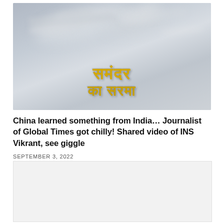[Figure (photo): Blurred photo with Hindi text overlay in golden/yellow color on a grey-blue sky background. The Hindi text reads 'समंदर का सरमा' (two lines). Background shows blurred aircraft or sky imagery.]
China learned something from India… Journalist of Global Times got chilly! Shared video of INS Vikrant, see giggle
SEPTEMBER 3, 2022
[Figure (photo): Partially visible image at bottom of page, mostly white/blank area shown.]